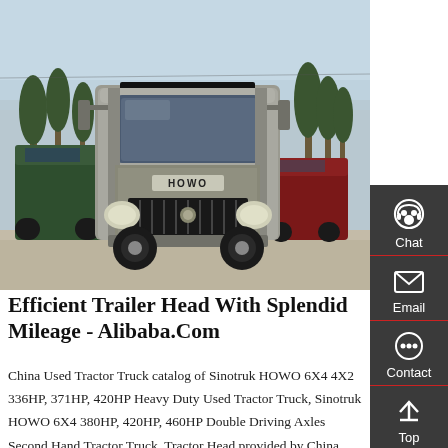[Figure (photo): Front view of a HOWO heavy duty tractor truck in silver/grey, with green and red trucks visible in the background, cypress trees, and a paved lot. Chinese manufacturer branding on top.]
Efficient Trailer Head With Splendid Mileage - Alibaba.Com
China Used Tractor Truck catalog of Sinotruk HOWO 6X4 4X2 336HP, 371HP, 420HP Heavy Duty Used Tractor Truck, Sinotruk HOWO 6X4 380HP, 420HP, 460HP Double Driving Axles Second Hand Tractor Truck, Tractor Head provided by China manufacturer - Weifang Changjiu International Trading